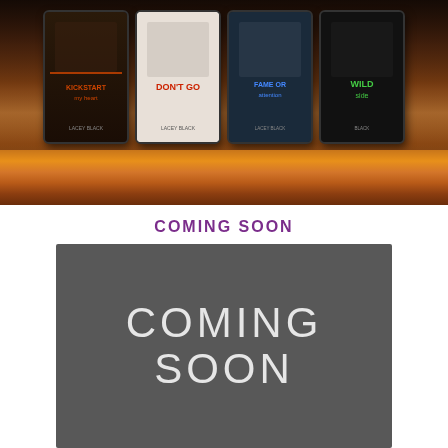[Figure (photo): Promotional image showing four book covers by Lacey Black displayed on tablets against a bar background. Books shown include 'Kickstart My Heart', 'Don't Go', 'Fame or Attention', and 'Wild Side'. Text reads 'Available on Amazon & Kindle Unlimited' and 'Now LIVE!']
COMING SOON
[Figure (illustration): Dark gray square with large thin-font text reading 'COMING SOON' in two lines, with light outline-style lettering on the gray background]